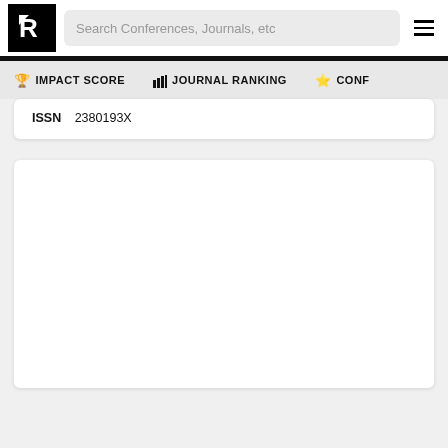Search Conferences, Journals, etc
IMPACT SCORE   JOURNAL RANKING   CONF
ISSN   2380193X